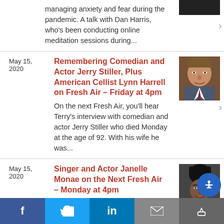managing anxiety and fear during the pandemic. A talk with Dan Harris, who's been conducting online meditation sessions during...
May 15, 2020
Remembering Comedian and Actor Jerry Stiller, Plus American Cellist Lynn Harrell on Fresh Air – Friday at 4pm
On the next Fresh Air, you'll hear Terry's interview with comedian and actor Jerry Stiller who died Monday at the age of 92. With his wife he was...
[Figure (photo): Photo of Jerry Stiller, elderly man in suit]
May 15, 2020
Singer and Actor Janelle Monae on the Next Fresh Air – Monday at 4pm
On the next Fresh Air, Terry
[Figure (photo): Photo of Janelle Monae, woman with styled hair]
Facebook | Twitter | LinkedIn | Email | Share